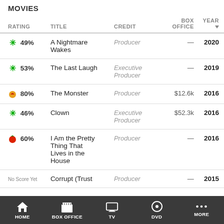MOVIES
| RATING | TITLE | CREDIT | BOX OFFICE | YEAR ▼ |
| --- | --- | --- | --- | --- |
| * 49% | A Nightmare Wakes | Producer | — | 2020 |
| * 53% | The Last Laugh | Executive Producer | — | 2019 |
| 🟠 80% | The Monster | Producer | $12.6k | 2016 |
| * 46% | Clown | Executive Producer | $52.3k | 2016 |
| 🍅 60% | I Am the Pretty Thing That Lives in the House | Producer | — | 2016 |
| No Score Yet | Corrupt (Trust | Producer | — | 2015 |
HOME  BOX OFFICE  TV  DVD  MORE